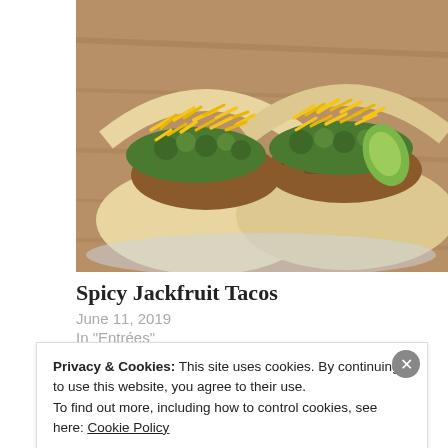[Figure (photo): Two tacos topped with shredded yellow cheese, avocado slices, and cilantro on flour tortillas, placed on a wooden surface.]
Spicy Jackfruit Tacos
June 11, 2019
In "Entrées"
Africa
African food
Cape Town
Privacy & Cookies: This site uses cookies. By continuing to use this website, you agree to their use.
To find out more, including how to control cookies, see here: Cookie Policy
Close and accept